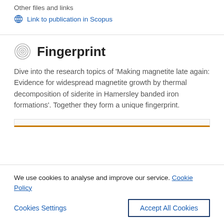Other files and links
Link to publication in Scopus
Fingerprint
Dive into the research topics of 'Making magnetite late again: Evidence for widespread magnetite growth by thermal decomposition of siderite in Hamersley banded iron formations'. Together they form a unique fingerprint.
We use cookies to analyse and improve our service. Cookie Policy
Cookies Settings
Accept All Cookies